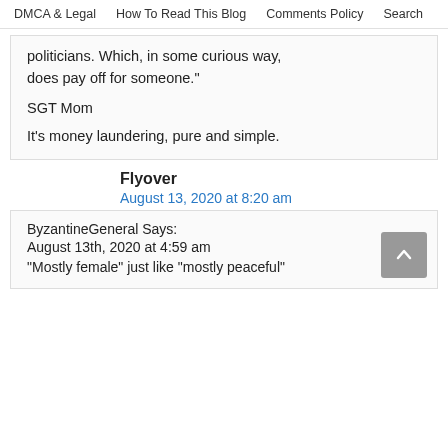DMCA & Legal   How To Read This Blog   Comments Policy   Search
politicians. Which, in some curious way, does pay off for someone."
SGT Mom
It's money laundering, pure and simple.
Flyover
August 13, 2020 at 8:20 am
ByzantineGeneral Says:
August 13th, 2020 at 4:59 am
“Mostly female” just like “mostly peaceful”